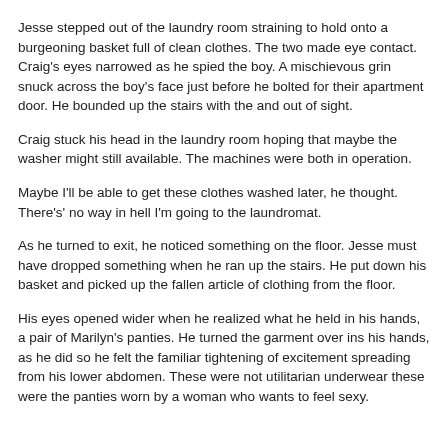Jesse stepped out of the laundry room straining to hold onto a burgeoning basket full of clean clothes. The two made eye contact. Craig's eyes narrowed as he spied the boy. A mischievous grin snuck across the boy's face just before he bolted for their apartment door. He bounded up the stairs with the and out of sight.
Craig stuck his head in the laundry room hoping that maybe the washer might still available. The machines were both in operation.
Maybe I'll be able to get these clothes washed later, he thought. There's' no way in hell I'm going to the laundromat.
As he turned to exit, he noticed something on the floor. Jesse must have dropped something when he ran up the stairs. He put down his basket and picked up the fallen article of clothing from the floor.
His eyes opened wider when he realized what he held in his hands, a pair of Marilyn's panties. He turned the garment over ins his hands, as he did so he felt the familiar tightening of excitement spreading from his lower abdomen. These were not utilitarian underwear these were the panties worn by a woman who wants to feel sexy.